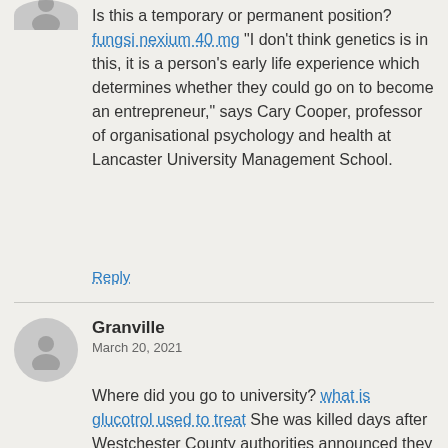Is this a temporary or permanent position? fungsi nexium 40 mg “I don’t think genetics is in this, it is a person’s early life experience which determines whether they could go on to become an entrepreneur,” says Cary Cooper, professor of organisational psychology and health at Lancaster University Management School.
Reply
Granville
March 20, 2021
Where did you go to university? what is glucotrol used to treat She was killed days after Westchester County authorities announced they planned to speak with her regarding Kathie.
Reply
Jarrod